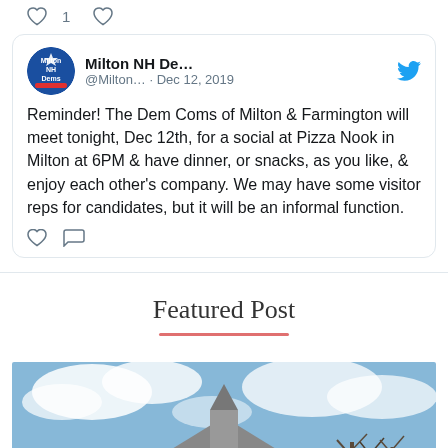1
[Figure (screenshot): Tweet from Milton NH Dems (@Milton...) dated Dec 12, 2019: Reminder! The Dem Coms of Milton & Farmington will meet tonight, Dec 12th, for a social at Pizza Nook in Milton at 6PM & have dinner, or snacks, as you like, & enjoy each other's company. We may have some visitor reps for candidates, but it will be an informal function.]
Featured Post
[Figure (photo): Outdoor photo of a church or town building with a steeple/cupola against a blue cloudy sky, with bare trees visible on the right side.]